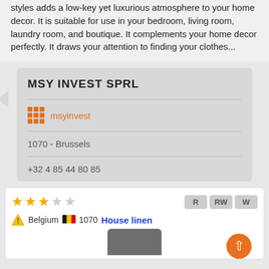styles adds a low-key yet luxurious atmosphere to your home decor. It is suitable for use in your bedroom, living room, laundry room, and boutique. It complements your home decor perfectly. It draws your attention to finding your clothes...
MSY INVEST SPRL
msyinvest
1070 - Brussels
+32 4 85 44 80 85
Belgium 1070 House linen